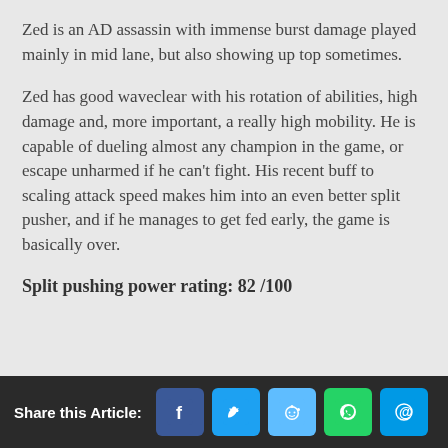Zed is an AD assassin with immense burst damage played mainly in mid lane, but also showing up top sometimes.
Zed has good waveclear with his rotation of abilities, high damage and, more important, a really high mobility. He is capable of dueling almost any champion in the game, or escape unharmed if he can’t fight. His recent buff to scaling attack speed makes him into an even better split pusher, and if he manages to get fed early, the game is basically over.
Split pushing power rating: 82 /100
Share this Article: